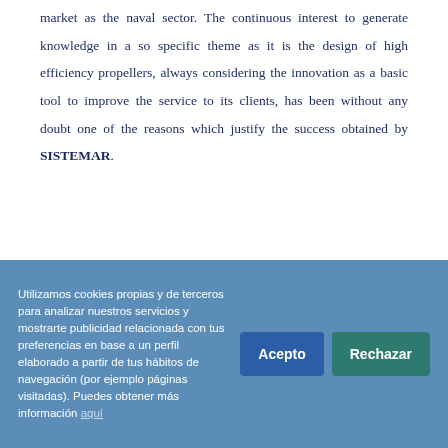market as the naval sector. The continuous interest to generate knowledge in a so specific theme as it is the design of high efficiency propellers, always considering the innovation as a basic tool to improve the service to its clients, has been without any doubt one of the reasons which justify the success obtained by SISTEMAR.
Utilizamos cookies propias y de terceros para analizar nuestros servicios y mostrarte publicidad relacionada con tus preferencias en base a un perfil elaborado a partir de tus hábitos de navegación (por ejemplo páginas visitadas). Puedes obtener más información